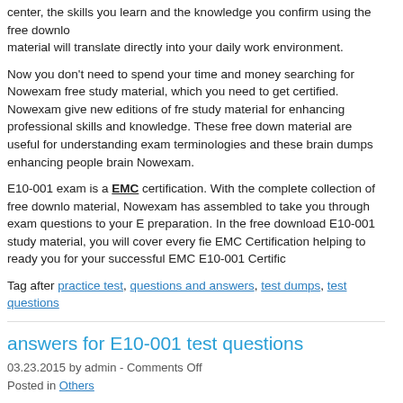center, the skills you learn and the knowledge you confirm using the free download material will translate directly into your daily work environment.
Now you don't need to spend your time and money searching for Nowexam free study material, which you need to get certified. Nowexam give new editions of free study material for enhancing professional skills and knowledge. These free download material are useful for understanding exam terminologies and these brain dumps enhancing people brain Nowexam.
E10-001 exam is a EMC certification. With the complete collection of free download material, Nowexam has assembled to take you through exam questions to your E preparation. In the free download E10-001 study material, you will cover every fie EMC Certification helping to ready you for your successful EMC E10-001 Certific
Tag after practice test, questions and answers, test dumps, test questions
answers for E10-001 test questions
03.23.2015 by admin - Comments Off
Posted in Others
Through working on these valuable answers for E10-001 test questions, applicants wonderful results in their E10-001 certification exam without getting problem. You technical certification exam of E10-001 will not be far away from you in case you prepared by means of answers for E10-001 test questions which are regarded assisting materials.
Many IT institutions offer answers for E10-001 test questions as well as genera